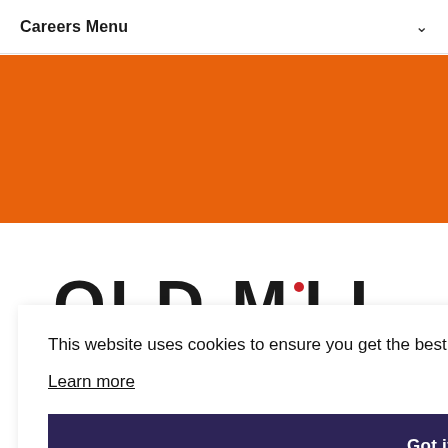Careers Menu
[Figure (other): Orange banner/hero image area]
[Figure (logo): Partially visible OLD MILL logo with red dot over the letter i]
This website uses cookies to ensure you get the best experience on our website.
Learn more
Got it!